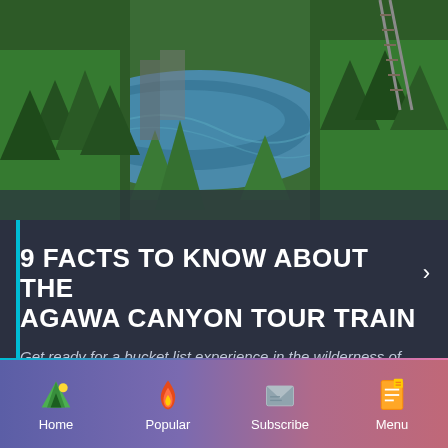[Figure (photo): Aerial view of a forested river canyon with green trees and a railway track visible in the upper right, taken from above showing blue-green water and lush forest]
9 FACTS TO KNOW ABOUT THE AGAWA CANYON TOUR TRAIN
Get ready for a bucket list experience in the wilderness of Northern Ontario.
By Conor Mihell
[Figure (infographic): Bottom navigation bar with gradient purple-to-pink background showing four navigation items: Home (camping tent icon), Popular (flame icon), Subscribe (envelope icon), Menu (document icon)]